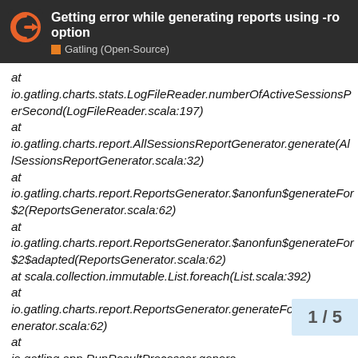Getting error while generating reports using -ro option
Gatling (Open-Source)
at io.gatling.charts.stats.LogFileReader.numberOfActiveSessionsPerSecond(LogFileReader.scala:197)
at io.gatling.charts.report.AllSessionsReportGenerator.generate(AllSessionsReportGenerator.scala:32)
at io.gatling.charts.report.ReportsGenerator.$anonfun$generateFor$2(ReportsGenerator.scala:62)
at io.gatling.charts.report.ReportsGenerator.$anonfun$generateFor$2$adapted(ReportsGenerator.scala:62)
at scala.collection.immutable.List.foreach(List.scala:392)
at io.gatling.charts.report.ReportsGenerator.generateFor(ReportsGenerator.scala:62)
at io.gatling.app.RunResultProcessor.genera
rocessor.scala:62)